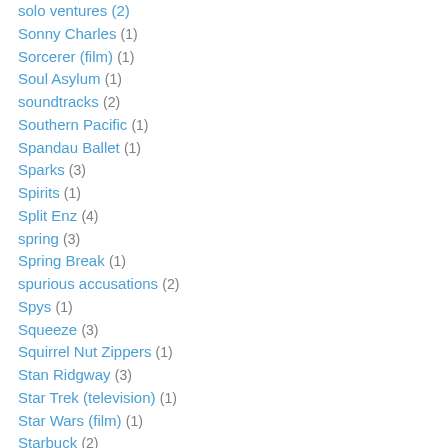solo ventures (2)
Sonny Charles (1)
Sorcerer (film) (1)
Soul Asylum (1)
soundtracks (2)
Southern Pacific (1)
Spandau Ballet (1)
Sparks (3)
Spirits (1)
Split Enz (4)
spring (3)
Spring Break (1)
spurious accusations (2)
Spys (1)
Squeeze (3)
Squirrel Nut Zippers (1)
Stan Ridgway (3)
Star Trek (television) (1)
Star Wars (film) (1)
Starbuck (2)